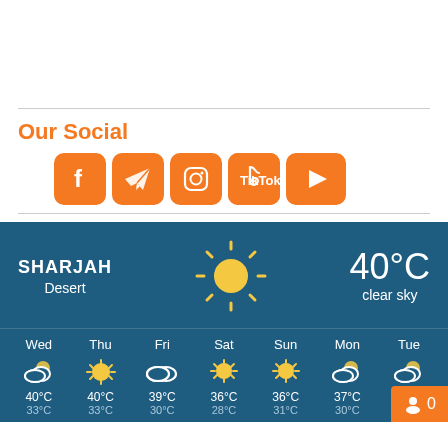Our Social
[Figure (illustration): Row of five orange social media icons: Facebook, Telegram, Instagram, TikTok, YouTube]
[Figure (infographic): Weather widget for Sharjah Desert showing 40°C clear sky with sun icon, and 7-day forecast: Wed 40/33°C partly cloudy, Thu 40/33°C sunny, Fri 39/30°C cloudy, Sat 36/28°C sunny, Sun 36/31°C sunny, Mon 37/30°C partly cloudy, Tue partly cloudy]